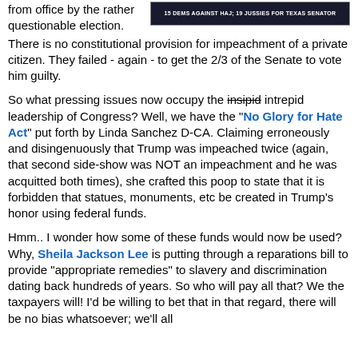from office by the rather questionable election.
[Figure (screenshot): Dark banner image with white/red text about election for Texas senator]
from office by the rather questionable election.  There is no constitutional provision for impeachment of a private citizen.  They failed - again - to get the 2/3 of the Senate to vote him guilty.

So what pressing issues now occupy the insipid intrepid leadership of Congress?  Well, we have the "No Glory for Hate Act" put forth by Linda Sanchez D-CA.  Claiming erroneously and disingenuously that Trump was impeached twice (again, that second side-show was NOT an impeachment and he was acquitted both times), she crafted this poop to state that it is forbidden that statues, monuments, etc be created in Trump's honor using federal funds.

Hmm..  I wonder how some of these funds would now be used?  Why, Sheila Jackson Lee is putting through a reparations bill to provide "appropriate remedies" to slavery and discrimination dating back hundreds of years.  So who will pay all that?  We the taxpayers will!  I'd be willing to bet that in that regard, there will be no bias whatsoever; we'll all